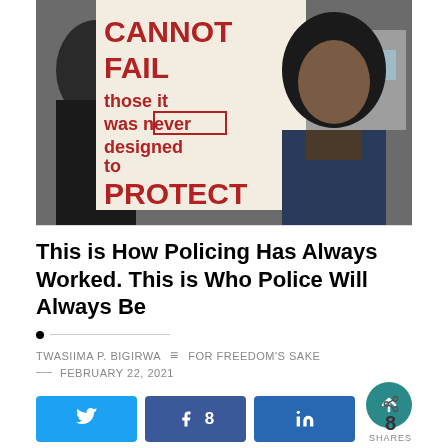[Figure (photo): A protest scene showing a person standing in front of a white sign with red text reading 'CANNOT FAIL those it was never designed to PROTECT', with other people in the background.]
This is How Policing Has Always Worked. This is Who Police Will Always Be
TWASIIMA P. BIGIRWA   FOR FREEDOM'S SAKE   FEBRUARY 22, 2021